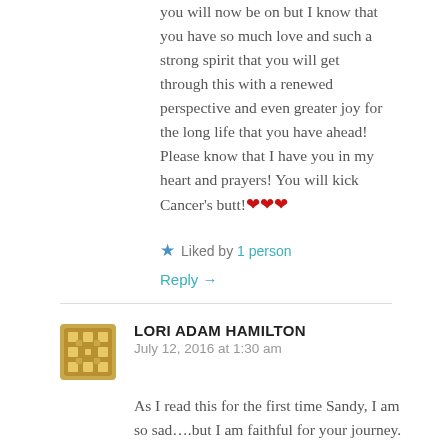you will now be on but I know that you have so much love and such a strong spirit that you will get through this with a renewed perspective and even greater joy for the long life that you have ahead! Please know that I have you in my heart and prayers! You will kick Cancer's butt! ❤❤❤
★ Liked by 1 person
Reply →
LORI ADAM HAMILTON
July 12, 2016 at 1:30 am
As I read this for the first time Sandy, I am so sad….but I am faithful for your journey.
I find strength in the coincidence of timing…I just today, before reading your message, read back on